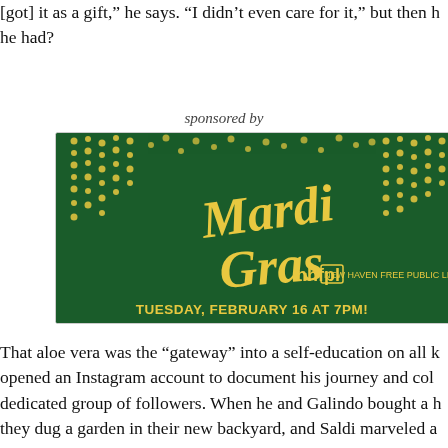[got] it as a gift," he says. "I didn't even care for it," but then he had?
sponsored by
[Figure (illustration): Mardi Gras advertisement banner with dark green background, yellow decorative hanging beads/dots pattern, stylized 'Mardi Gras' text in yellow cursive, nhfpl logo, and text 'TUESDAY, FEBRUARY 16 AT 7PM!']
That aloe vera was the “gateway” into a self-education on all k… opened an Instagram account to document his journey and col… dedicated group of followers. When he and Galindo bought a h… they dug a garden in their new backyard, and Saldi marveled a… small tomato seedlings into thriving plants bearing produce th… such a mundane thing to think about, right?” he says. “But wh… experiencing something that you’ve cared for and now you’re